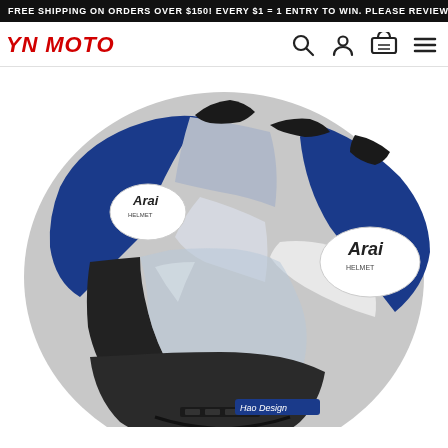FREE SHIPPING ON ORDERS OVER $150! EVERY $1 = 1 ENTRY TO WIN. PLEASE REVIEW ALL OFFICIAL RULES.
YN MOTO
[Figure (photo): Arai motorcycle helmet in blue, white, silver, and black color scheme with Arai logo visible on the side and front. The helmet features a clear visor and aerodynamic vents on top. A 'Hao Design' label is visible at the bottom.]